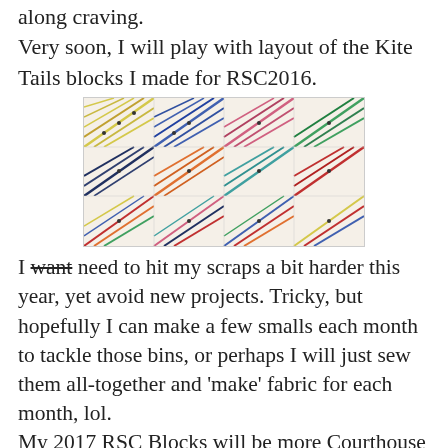along craving.
Very soon, I will play with layout of the Kite Tails blocks I made for RSC2016.
[Figure (photo): A colorful quilt layout showing many Kite Tails blocks arranged together with various colors including red, blue, green, orange, yellow, and teal diagonal stripe patterns on a white background.]
I want need to hit my scraps a bit harder this year, yet avoid new projects. Tricky, but hopefully I can make a few smalls each month to tackle those bins, or perhaps I will just sew them all-together and 'make' fabric for each month, lol.
My 2017 RSC Blocks will be more Courthouse blocks. I only managed to finish eight last year, but I enjoyed making them and they're so cute!
[Figure (photo): Partial view of a courthouse quilt block with blue and green fabric pieces visible at the bottom of the page.]